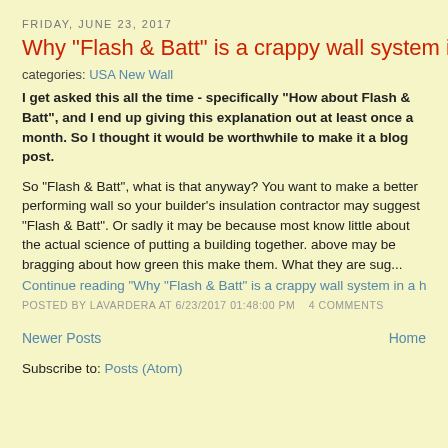FRIDAY, JUNE 23, 2017
Why "Flash & Batt" is a crappy wall system in a heating cl...
categories: USA New Wall
I get asked this all the time - specifically "How about Flash & Batt", and I end up giving this explanation out at least once a month. So I thought it would be worthwhile to make it a blog post.
So "Flash & Batt", what is that anyway? You want to make a better performing wall so your builder's insulation contractor may suggest "Flash & Batt". Or sadly it may be because most know little about the actual science of putting a building together. above may be bragging about how green this make them. What they are sug...
Continue reading "Why "Flash & Batt" is a crappy wall system in a heating cl..."
POSTED BY LAVARDERA AT 6/23/2017 01:48:00 PM   4 COMMENTS
Newer Posts
Home
Subscribe to: Posts (Atom)